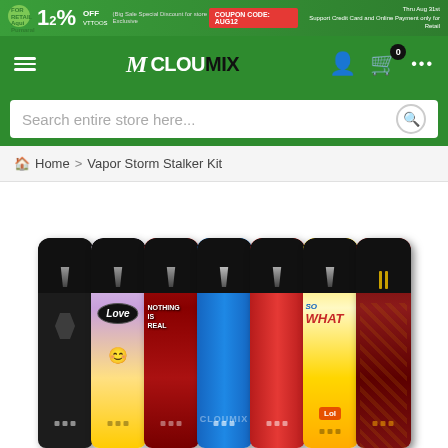[Figure (screenshot): E-commerce website banner with green background showing 12% OFF promotion, COUPON CODE: AUG12, and retail text]
M CLOUMIX - navigation header with menu icon, logo, user icon, cart (0), and more options
Search entire store here...
Home > Vapor Storm Stalker Kit
[Figure (photo): Seven vape pen devices (Vapor Storm Stalker Kit) displayed side by side showing different color variants: black, love (colorful illustrated), skull (red illustrated), blue, red, comic (yellow illustrated with WHAT/LOL text), and tribal pattern (dark red)]